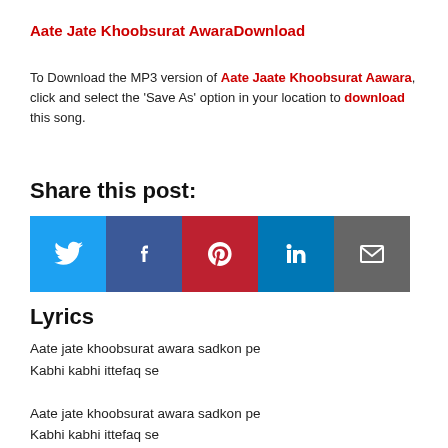Aate Jate Khoobsurat AwaraDownload
To Download the MP3 version of Aate Jaate Khoobsurat Aawara, click and select the ‘Save As’ option in your location to download this song.
Share this post:
[Figure (other): Social share buttons for Twitter, Facebook, Pinterest, LinkedIn, and Email]
Lyrics
Aate jate khoobsurat awara sadkon pe
Kabhi kabhi ittefaq se

Aate jate khoobsurat awara sadkon pe
Kabhi kabhi ittefaq se